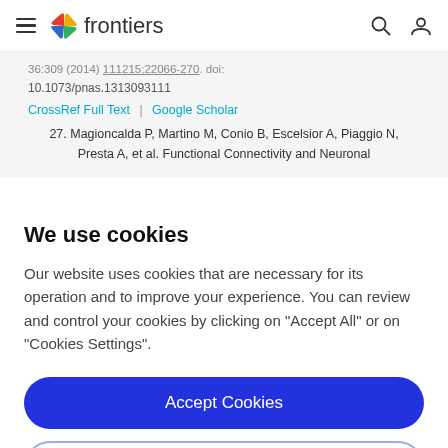frontiers
36:309 (2014) 111215;22066-270. doi: 10.1073/pnas.1313093111
CrossRef Full Text | Google Scholar
27. Magioncalda P, Martino M, Conio B, Escelsior A, Piaggio N, Presta A, et al. Functional Connectivity and Neuronal
We use cookies
Our website uses cookies that are necessary for its operation and to improve your experience. You can review and control your cookies by clicking on "Accept All" or on "Cookies Settings".
Accept Cookies
Cookies Settings